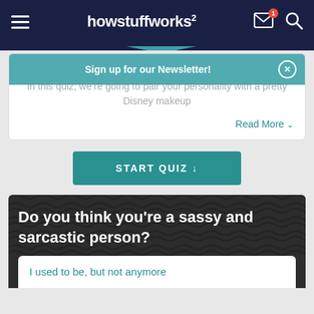howstuffworks
Sign up for our Newsletter!
In this quiz, we're going to pair your personality with a pretty Disney makeup
Read More
START QUIZ ↓
Do you think you're a sassy and sarcastic person?
I used to be, but not anymore